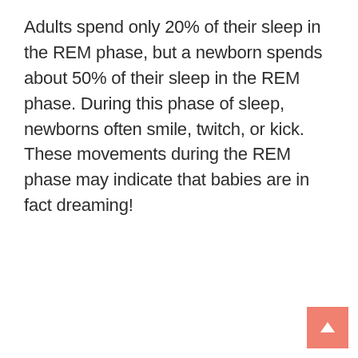Adults spend only 20% of their sleep in the REM phase, but a newborn spends about 50% of their sleep in the REM phase. During this phase of sleep, newborns often smile, twitch, or kick. These movements during the REM phase may indicate that babies are in fact dreaming!
[Figure (other): Broken image placeholder with alt text: Do Babies Dream? Newborn Babies Might Dream More Than Adults]